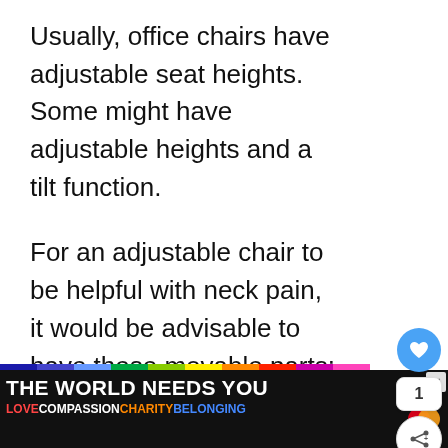Usually, office chairs have adjustable seat heights. Some might have adjustable heights and a tilt function.
For an adjustable chair to be helpful with neck pain, it would be advisable to have these movable parts:
[Figure (screenshot): Advertisement placeholder box with 'ADVERTISEMENT' label in gray uppercase text, social sharing panel with heart button (blue circle), count '1', and share button, and a 'WHAT'S NEXT' card showing 'Does Bouncing o...' with a thumbnail image]
[Figure (infographic): Bottom banner advertisement: 'THE WORLD NEEDS YOU' in large white bold text on dark background, rainbow colored bar at top, 'LOVE COMPASSION CHARITY BELONGING' in colored text, with a Mastercard logo on right]